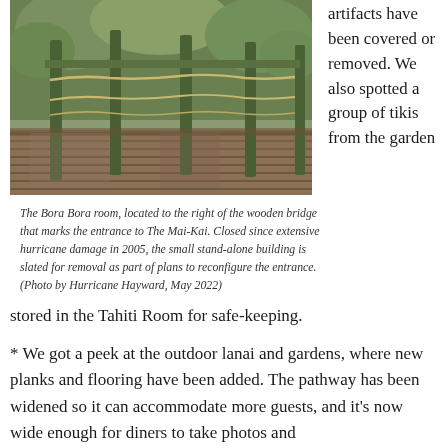[Figure (photo): A deteriorating wooden structure with vertical poles/posts and planks, overgrown with vegetation, appears to be a dilapidated outdoor building or bridge structure.]
The Bora Bora room, located to the right of the wooden bridge that marks the entrance to The Mai-Kai. Closed since extensive hurricane damage in 2005, the small stand-alone building is slated for removal as part of plans to reconfigure the entrance. (Photo by Hurricane Hayward, May 2022)
artifacts have been covered or removed. We also spotted a group of tikis from the garden stored in the Tahiti Room for safe-keeping.
* We got a peek at the outdoor lanai and gardens, where new planks and flooring have been added. The pathway has been widened so it can accommodate more guests, and it's now wide enough for diners to take photos and